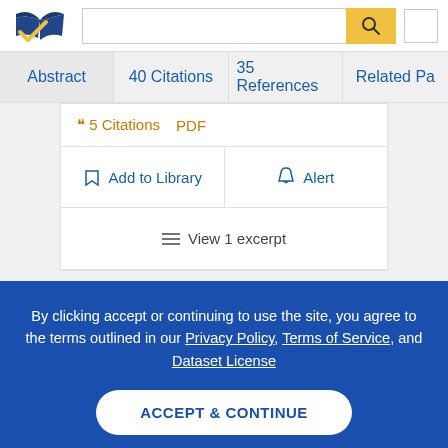[Figure (logo): Semantic Scholar logo — stylized open book with dark blue and gold check mark]
Abstract | 40 Citations | 35 References | Related Pa…
❝ 5 Citations   PDF
☐ Add to Library   🔔 Alert
≡ View 1 excerpt
By clicking accept or continuing to use the site, you agree to the terms outlined in our Privacy Policy, Terms of Service, and Dataset License
ACCEPT & CONTINUE